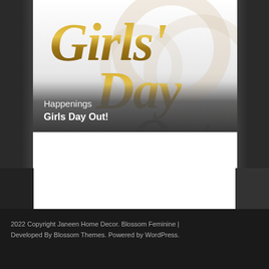[Figure (illustration): Girls' Day Out logo/banner image with large gold decorative text reading Girls' Day Out on a gradient background (white to gray), with circular ring watermark design. Text 'Happenings' in white and 'Girls Day Out!' in bold white below.]
Happenings
Girls Day Out!
2022 Copyright Janeen Home Decor. Blossom Feminine | Developed By Blossom Themes. Powered by WordPress.